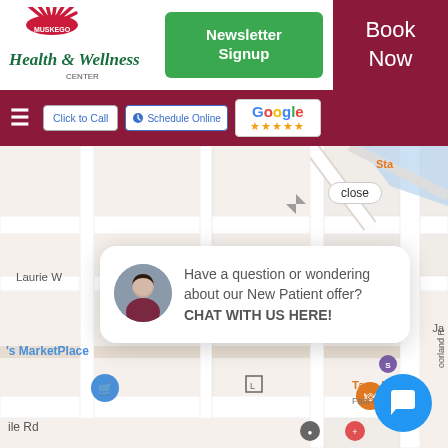[Figure (logo): Muskego Health & Wellness Center logo with sun/rays icon and italic script text]
Newsletter Signup
Book Now
Click to Call
Schedule Online
[Figure (logo): Google logo with 5 yellow star rating]
[Figure (map): Google Maps screenshot showing local area around Muskego Health & Wellness Center, with street map, labels for Laurie W, Starbucks, James label, Portland Rd, Taco Bell, marketplace label and map pins]
close
Have a question or wondering about our New Patient offer? CHAT WITH US HERE!